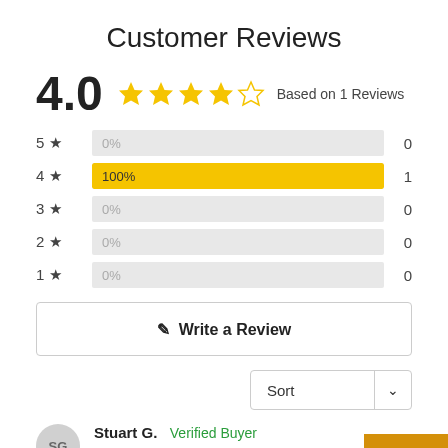Customer Reviews
4.0 ★★★★☆ Based on 1 Reviews
[Figure (bar-chart): Star rating distribution]
✎  Write a Review
Sort
Stuart G.  Verified Buyer